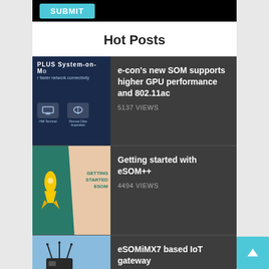[Figure (screenshot): Submit button on dark background]
Hot Posts
[Figure (photo): SOM PLUS System-on-Module product image with network icons]
e-con's new SOM supports higher GPU performance and 802.11ac
5137 VIEWS
[Figure (illustration): Getting Started with eSOM++ graphic]
Getting started with eSOM++
4494 VIEWS
[Figure (photo): eSOMiMX7 IoT gateway device over agricultural field]
eSOMiMX7 based IoT gateway
5430 VIEWS
Post Tags
eSOMTK1